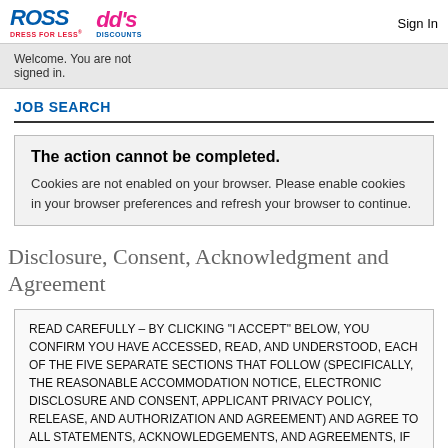ROSS DRESS FOR LESS | dd's DISCOUNTS | Sign In
Welcome. You are not signed in.
JOB SEARCH
The action cannot be completed. Cookies are not enabled on your browser. Please enable cookies in your browser preferences and refresh your browser to continue.
Disclosure, Consent, Acknowledgment and Agreement
READ CAREFULLY – BY CLICKING "I ACCEPT" BELOW, YOU CONFIRM YOU HAVE ACCESSED, READ, AND UNDERSTOOD, EACH OF THE FIVE SEPARATE SECTIONS THAT FOLLOW (SPECIFICALLY, THE REASONABLE ACCOMMODATION NOTICE, ELECTRONIC DISCLOSURE AND CONSENT, APPLICANT PRIVACY POLICY, RELEASE, AND AUTHORIZATION AND AGREEMENT) AND AGREE TO ALL STATEMENTS, ACKNOWLEDGEMENTS, AND AGREEMENTS, IF ANY, CONTAINED THEREIN.